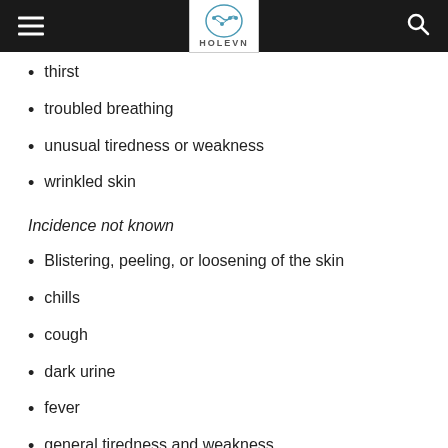HOLEVN
thirst
troubled breathing
unusual tiredness or weakness
wrinkled skin
Incidence not known
Blistering, peeling, or loosening of the skin
chills
cough
dark urine
fever
general tiredness and weakness